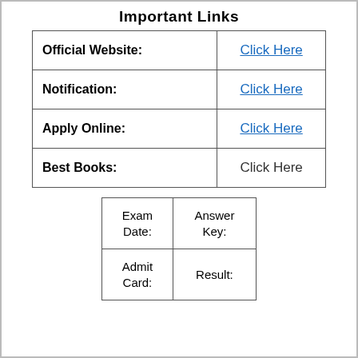Important Links
|  |  |
| --- | --- |
| Official Website: | Click Here |
| Notification: | Click Here |
| Apply Online: | Click Here |
| Best Books: | Click Here |
| Exam Date: | Answer Key: |
| Admit Card: | Result: |